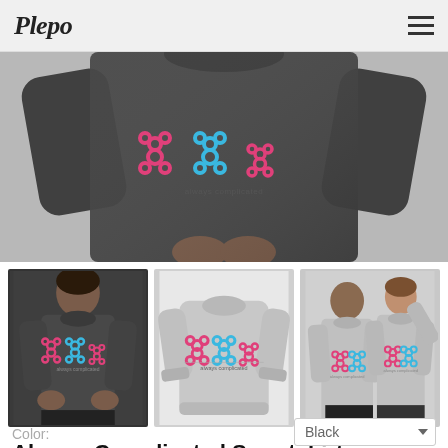Plepo
[Figure (photo): Close-up of a person wearing a dark charcoal grey crewneck sweatshirt with a colorful balloon dog graphic on the chest, cropped to show torso only.]
[Figure (photo): Three thumbnail images of the Always Complicated Sweatshirt: first shows a woman wearing dark grey version (selected/highlighted), second shows the sweatshirt laid flat in light grey, third shows a man and woman both wearing the light grey version.]
Always Complicated Sweatshirt
by markashkar1972
Color:
Black